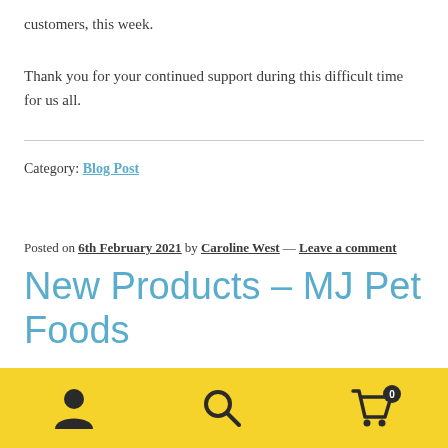customers, this week.
Thank you for your continued support during this difficult time for us all.
Category: Blog Post
Posted on 6th February 2021 by Caroline West — Leave a comment
New Products – MJ Pet Foods